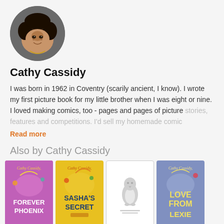[Figure (photo): Circular author photo of Cathy Cassidy, a woman with curly dark hair and a necklace, smiling]
Cathy Cassidy
I was born in 1962 in Coventry (scarily ancient, I know). I wrote my first picture book for my little brother when I was eight or nine. I loved making comics, too - pages and pages of picture stories, features and competitions. I'd sell my homemade comic
Read more
Also by Cathy Cassidy
[Figure (photo): Book cover: Forever Phoenix by Cathy Cassidy, pink/purple background]
[Figure (photo): Book cover: Sasha's Secret by Cathy Cassidy, yellow background]
[Figure (illustration): Placeholder book cover with penguin logo]
[Figure (photo): Book cover: Love From Lexie by Cathy Cassidy, purple/blue background]